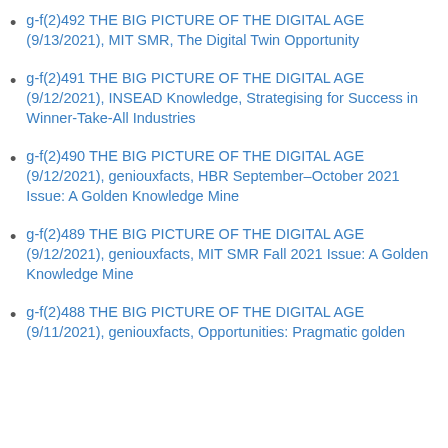g-f(2)492 THE BIG PICTURE OF THE DIGITAL AGE (9/13/2021), MIT SMR, The Digital Twin Opportunity
g-f(2)491 THE BIG PICTURE OF THE DIGITAL AGE (9/12/2021), INSEAD Knowledge, Strategising for Success in Winner-Take-All Industries
g-f(2)490 THE BIG PICTURE OF THE DIGITAL AGE (9/12/2021), geniouxfacts, HBR September–October 2021 Issue: A Golden Knowledge Mine
g-f(2)489 THE BIG PICTURE OF THE DIGITAL AGE (9/12/2021), geniouxfacts, MIT SMR Fall 2021 Issue: A Golden Knowledge Mine
g-f(2)488 THE BIG PICTURE OF THE DIGITAL AGE (9/11/2021), geniouxfacts, Opportunities: Pragmatic golden